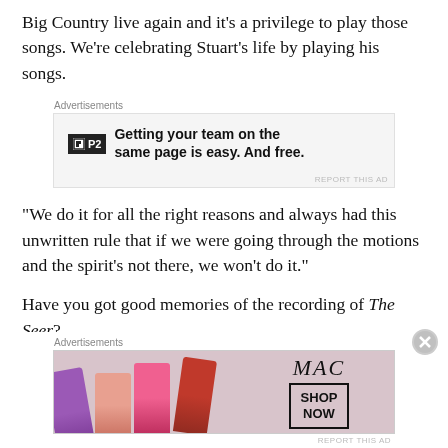Big Country live again and it's a privilege to play those songs. We're celebrating Stuart's life by playing his songs.
[Figure (screenshot): Advertisement banner for P2 with text: Getting your team on the same page is easy. And free.]
“We do it for all the right reasons and always had this unwritten rule that if we were going through the motions and the spirit's not there, we won't do it.”
Have you got good memories of the recording of The Seer?
“Yes, we did it with Robin Millar, an awesome producer. As with the fellas in Silver Stream, he’s very restricted with hi…
[Figure (screenshot): MAC Cosmetics advertisement showing lipsticks and SHOP NOW button.]